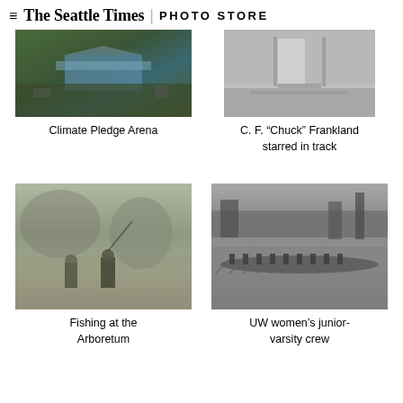The Seattle Times | PHOTO STORE
[Figure (photo): Aerial view of Climate Pledge Arena in Seattle]
Climate Pledge Arena
[Figure (photo): Black and white photo related to C. F. Chuck Frankland in track]
C. F. “Chuck” Frankland starred in track
[Figure (photo): Black and white photo of people fishing at the Arboretum]
Fishing at the Arboretum
[Figure (photo): Black and white photo of UW women's junior-varsity crew rowing on water]
UW women’s junior-varsity crew